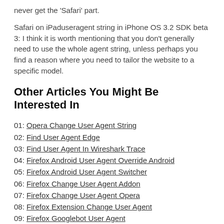never get the 'Safari' part.
Safari on iPaduseragent string in iPhone OS 3.2 SDK beta 3: I think it is worth mentioning that you don't generally need to use the whole agent string, unless perhaps you find a reason where you need to tailor the website to a specific model.
Other Articles You Might Be Interested In
01: Opera Change User Agent String
02: Find User Agent Edge
03: Find User Agent In Wireshark Trace
04: Firefox Android User Agent Override Android
05: Firefox Android User Agent Switcher
06: Firefox Change User Agent Addon
07: Firefox Change User Agent Opera
08: Firefox Extension Change User Agent
09: Firefox Googlebot User Agent
10: Firefox On Linux User Agent